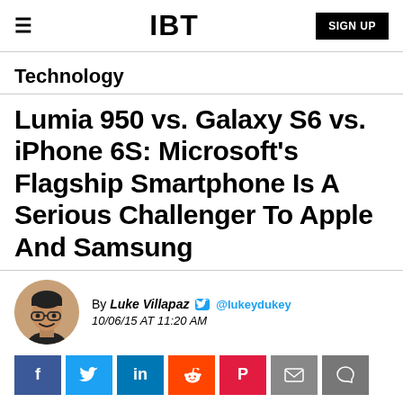IBT | SIGN UP
Technology
Lumia 950 vs. Galaxy S6 vs. iPhone 6S: Microsoft's Flagship Smartphone Is A Serious Challenger To Apple And Samsung
By Luke Villapaz @lukeydukey 10/06/15 AT 11:20 AM
[Figure (other): Social sharing buttons: Facebook, Twitter, LinkedIn, Reddit, Flipboard, Email, Comment]